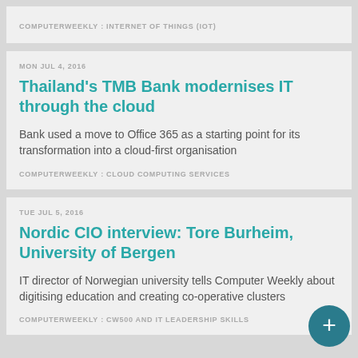COMPUTERWEEKLY : INTERNET OF THINGS (IOT)
MON JUL 4, 2016
Thailand's TMB Bank modernises IT through the cloud
Bank used a move to Office 365 as a starting point for its transformation into a cloud-first organisation
COMPUTERWEEKLY : CLOUD COMPUTING SERVICES
TUE JUL 5, 2016
Nordic CIO interview: Tore Burheim, University of Bergen
IT director of Norwegian university tells Computer Weekly about digitising education and creating co-operative clusters
COMPUTERWEEKLY : CW500 AND IT LEADERSHIP SKILLS